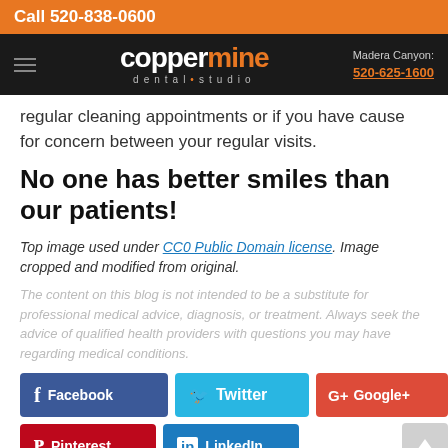Call 520-838-0600
[Figure (logo): Coppermine Dental Studio logo with hamburger menu icon and Madera Canyon phone number 520-625-1600]
regular cleaning appointments or if you have cause for concern between your regular visits.
No one has better smiles than our patients!
Top image used under CC0 Public Domain license. Image cropped and modified from original.
The content on this blog is not intended to be a substitute for professional medical advice, diagnosis, or treatment. Always seek the advice of qualified health providers with questions you may have regarding medical conditions.
Facebook  Twitter  Google+  Pinterest  LinkedIn